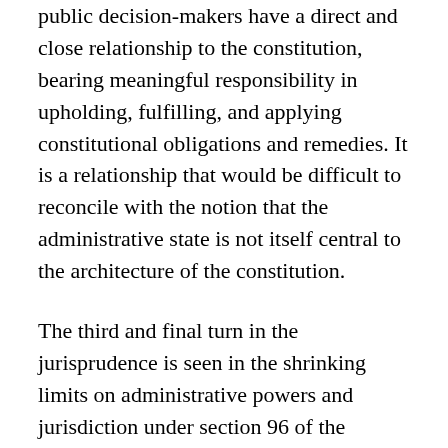public decision-makers have a direct and close relationship to the constitution, bearing meaningful responsibility in upholding, fulfilling, and applying constitutional obligations and remedies. It is a relationship that would be difficult to reconcile with the notion that the administrative state is not itself central to the architecture of the constitution.
The third and final turn in the jurisprudence is seen in the shrinking limits on administrative powers and jurisdiction under section 96 of the Constitution Act, 1867. Section 96 protects the special status and core jurisdiction of the superior courts. In the early decades of the twentieth century, section 96 was interpreted broadly and